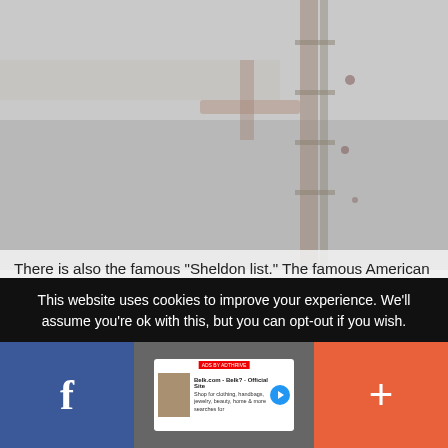[Figure (photo): Muted grey background photo showing an outdoor scene with wooden/ladder elements]
There is also the famous “Sheldon list.” The famous American writer Sidney Sheldon, working on his novel “The End of the World”, drew attention to a series of mysterious deaths among British specialists developing space weapons.
In October of 1986, Professor Arshad Sharif killed himself by tying one end of the rope to a tree, making a loop at the other end, putting his head through it and driving the car away. A few days later another London professor,
This website uses cookies to improve your experience. We'll assume you're ok with this, but you can opt-out if you wish.
[Figure (screenshot): Bottom social media / sharing bar with Facebook button (blue), center content preview card on dark background, and plus/add button (orange-red)]